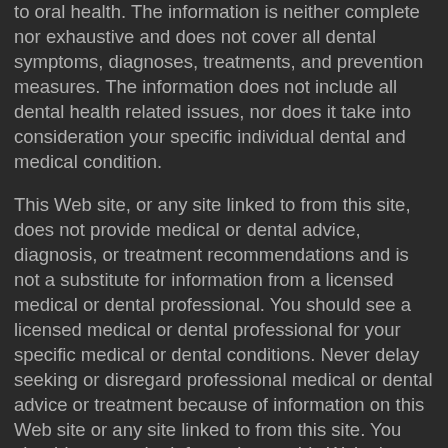to oral health. The information is neither complete nor exhaustive and does not cover all dental symptoms, diagnoses, treatments, and prevention measures. The information does not include all dental health related issues, nor does it take into consideration your specific individual dental and medical condition.
This Web site, or any site linked to from this site, does not provide medical or dental advice, diagnosis, or treatment recommendations and is not a substitute for information from a licensed medical or dental professional. You should see a licensed medical or dental professional for your specific medical or dental conditions. Never delay seeking or disregard professional medical or dental advice or treatment because of information on this Web site or any site linked to from this site. You should not use the information on this Web site to determine a dental or medical diagnosis, treatment options, or to determine oral health guidelines or routines.
In the event of a dental or medical emergency, immediately contact a dentist, physician, health care provider, or emergency medical facility (for